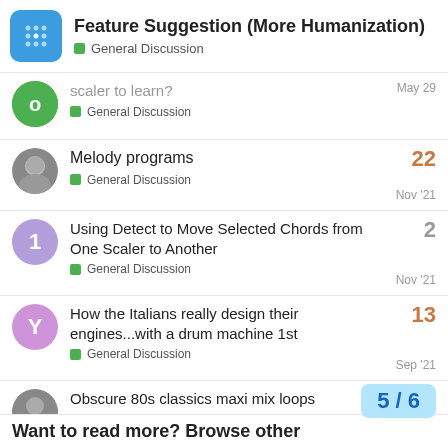Feature Suggestion (More Humanization) — General Discussion
scaler to learn? — General Discussion — May 29
Melody programs — General Discussion — Nov '21 — 22 replies
Using Detect to Move Selected Chords from One Scaler to Another — General Discussion — Nov '21 — 2 replies
How the Italians really design their engines...with a drum machine 1st — General Discussion — Sep '21 — 13 replies
Obscure 80s classics maxi mix loops — General Discussion — Jun 14 — 2 replies
5 / 6
Want to read more? Browse other